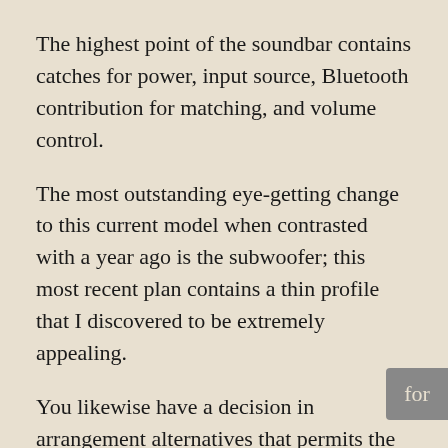The highest point of the soundbar contains catches for power, input source, Bluetooth contribution for matching, and volume control.
The most outstanding eye-getting change to this current model when contrasted with a year ago is the subwoofer; this most recent plan contains a thin profile that I discovered to be extremely appealing.
You likewise have a decision in arrangement alternatives that permits the subwoofer to be either vertically (with the provided feet) or evenly mounted. The flat design will permit you to put the sub into restricted spaces, for example, under your couch.